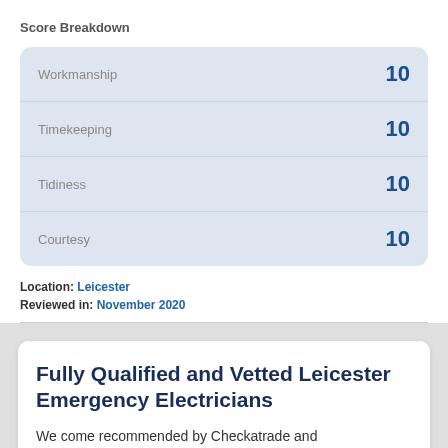Score Breakdown
| Category | Score |
| --- | --- |
| Workmanship | 10 |
| Timekeeping | 10 |
| Tidiness | 10 |
| Courtesy | 10 |
Location: Leicester
Reviewed in: November 2020
Fully Qualified and Vetted Leicester Emergency Electricians
We come recommended by Checkatrade and